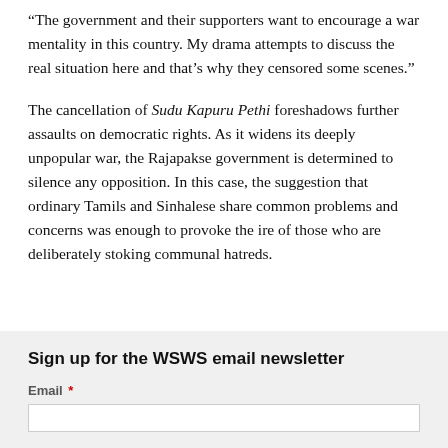“The government and their supporters want to encourage a war mentality in this country. My drama attempts to discuss the real situation here and that’s why they censored some scenes.”
The cancellation of Sudu Kapuru Pethi foreshadows further assaults on democratic rights. As it widens its deeply unpopular war, the Rajapakse government is determined to silence any opposition. In this case, the suggestion that ordinary Tamils and Sinhalese share common problems and concerns was enough to provoke the ire of those who are deliberately stoking communal hatreds.
Sign up for the WSWS email newsletter
Email *